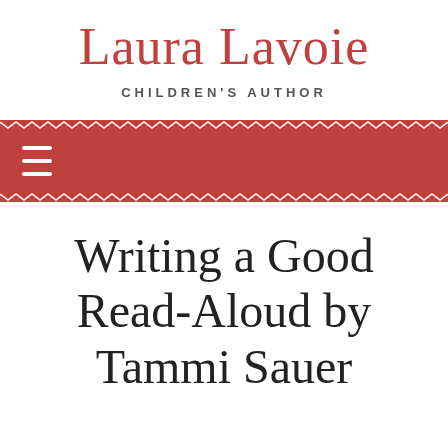Laura Lavoie
CHILDREN'S AUTHOR
[Figure (other): Red navigation bar with rope/zigzag border on top and bottom, and a white hamburger menu icon on the left side]
Writing a Good Read-Aloud by Tammi Sauer